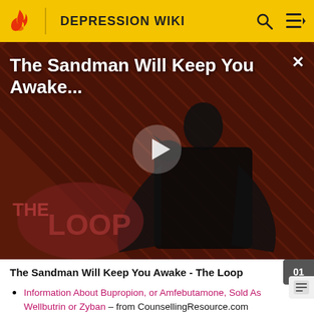DEPRESSION WIKI
[Figure (screenshot): Video thumbnail for 'The Sandman Will Keep You Awake...' showing a dark figure in black with a raven, diagonal striped background in dark red, with 'THE LOOP' watermark and a play button overlay.]
The Sandman Will Keep You Awake - The Loop
Information About Bupropion, or Amfebutamone, Sold As Wellbutrin or Zyban – from CounsellingResource.com